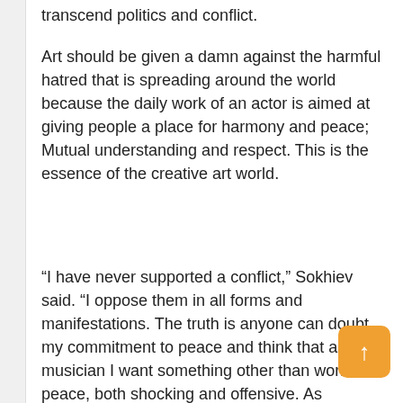transcend politics and conflict.
Art should be given a damn against the harmful hatred that is spreading around the world because the daily work of an actor is aimed at giving people a place for harmony and peace; Mutual understanding and respect. This is the essence of the creative art world.
“I have never supported a conflict,” Sokhiev said. “I oppose them in all forms and manifestations. The truth is anyone can doubt my commitment to peace and think that as a musician I want something other than world peace, both shocking and offensive. As humanity has undergone dramatic geopolitical developments over the past 20 years, my musi… friends and I have always been united in our support